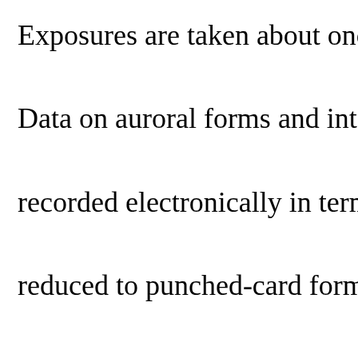Exposures are taken about once every Data on auroral forms and intensities a recorded electronically in terms of sky reduced to punched-card form and file This work is done by conventional ele machines. During periods of marked solar activit to obtain data for study and record. In photon counters are encased in the re